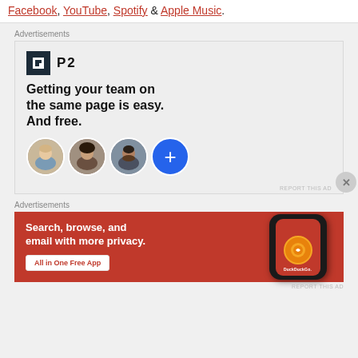Facebook, YouTube, Spotify & Apple Music.
Advertisements
[Figure (illustration): P2 advertisement: logo with P2 branding, headline 'Getting your team on the same page is easy. And free.' with three circular avatar photos and a blue plus button circle]
Advertisements
[Figure (illustration): DuckDuckGo advertisement on orange/red background: 'Search, browse, and email with more privacy. All in One Free App' with phone mockup showing DuckDuckGo logo]